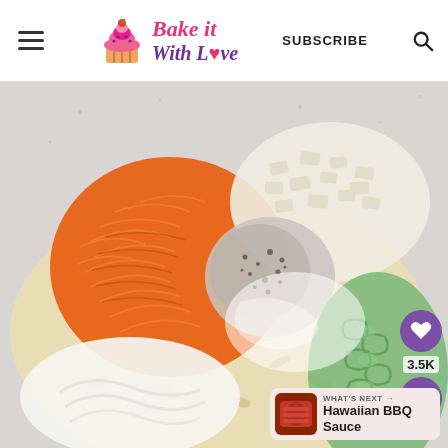Bake it With Love | SUBSCRIBE
[Figure (photo): Overhead close-up of macaroni salad ingredients in a bowl: shredded carrots (orange), chopped onion (white), seasonings/spices, green celery slices, macaroni pasta, and creamy mayonnaise dressing, all unmixed.]
3.5K
WHAT'S NEXT → Hawaiian BBQ Sauce